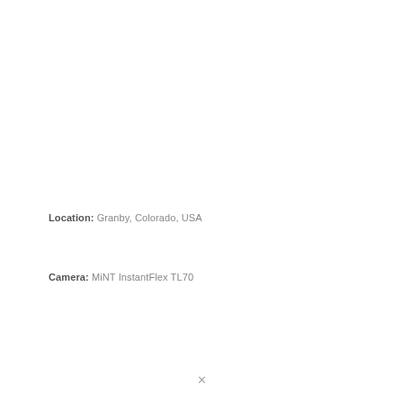Location: Granby, Colorado, USA
Camera: MiNT InstantFlex TL70
X